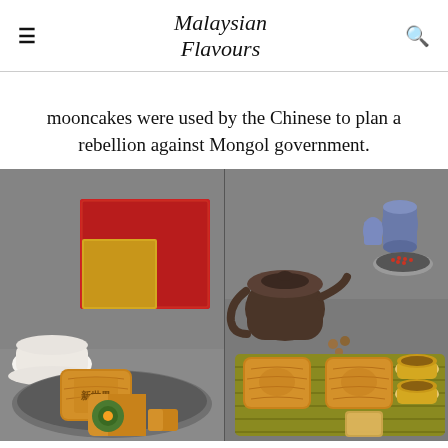Malaysian Flavours
mooncakes were used by the Chinese to plan a rebellion against Mongol government.
[Figure (photo): Two photos side by side of mooncakes: left image shows mooncakes on a plate with a red gift box and teacup in background; right image shows mooncakes on a wooden tray with a dark clay teapot and small tea cups with nuts scattered around, and blue ceramic vases in background.]